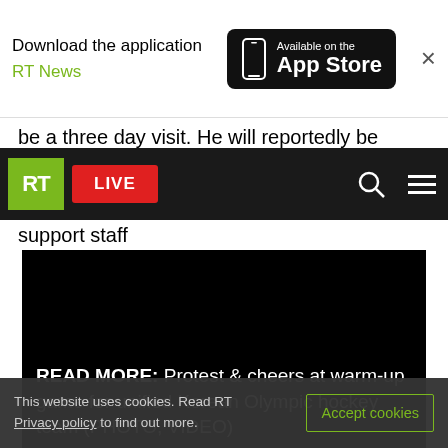Download the application RT News — Available on the App Store
be a three day visit. He will reportedly be
RT LIVE
support staff
[Figure (screenshot): Black video player area with READ MORE overlay text: READ MORE: Protest & cheers at warm-up game for unified Korean Olympic hockey team (PHOTO, VIDEO)]
This website uses cookies. Read RT Privacy policy to find out more.